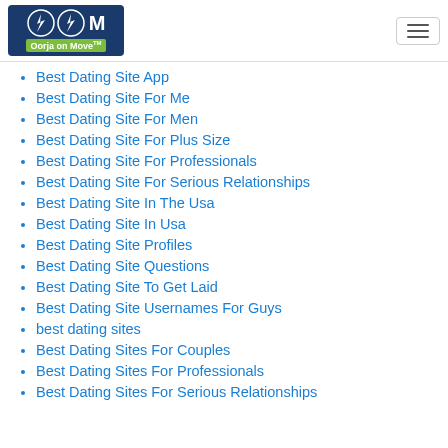Oorja on Move
Best Dating Site App
Best Dating Site For Me
Best Dating Site For Men
Best Dating Site For Plus Size
Best Dating Site For Professionals
Best Dating Site For Serious Relationships
Best Dating Site In The Usa
Best Dating Site In Usa
Best Dating Site Profiles
Best Dating Site Questions
Best Dating Site To Get Laid
Best Dating Site Usernames For Guys
best dating sites
Best Dating Sites For Couples
Best Dating Sites For Professionals
Best Dating Sites For Serious Relationships